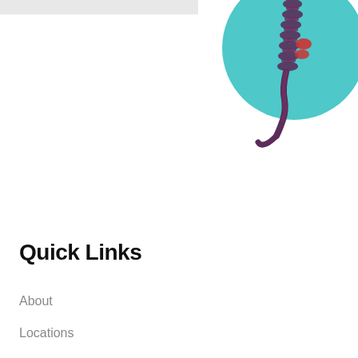[Figure (illustration): Medical logo with teal/turquoise circular background showing a spine/vertebral column illustration in dark purple/maroon, with a red accent element, partially cropped at top of page]
Quick Links
About
Locations